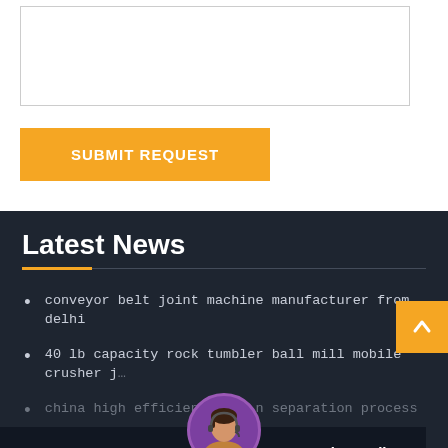[Figure (other): White textarea input box for user message]
SUBMIT REQUEST
Latest News
conveyor belt joint machine manufacturer from delhi
40 lb capacity rock tumbler ball mill mobile crusher j…
china high efficiency ore…n separation process
ball mill for small scale mine
Leave Message
Chat Online